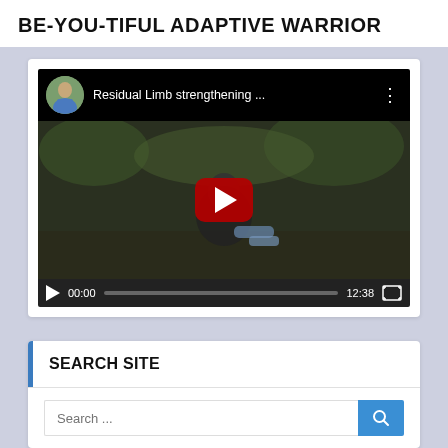BE-YOU-TIFUL ADAPTIVE WARRIOR
[Figure (screenshot): YouTube video embed showing 'Residual Limb strengthening ...' with a play button overlay, avatar of a woman in blue top, video controls showing 00:00 / 12:38 duration]
SEARCH SITE
Search ...